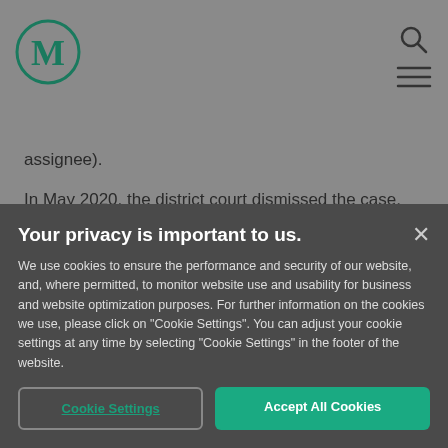[Figure (logo): Circle logo with letter M in teal/green color]
assignee).
In May 2020, the district court dismissed the case, finding that USFRF lacked both statutory and constitutional standing. Analyzing the nunc pro tunc
Your privacy is important to us.
We use cookies to ensure the performance and security of our website, and, where permitted, to monitor website use and usability for business and website optimization purposes. For further information on the cookies we use, please click on "Cookie Settings". You can adjust your cookie settings at any time by selecting "Cookie Settings" in the footer of the website.
Cookie Settings
Accept All Cookies